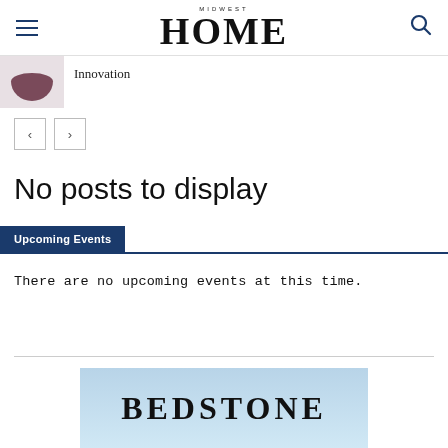MIDWEST HOME
Innovation
< >
No posts to display
Upcoming Events
There are no upcoming events at this time.
[Figure (logo): BEDSTONE advertisement banner with blue gradient background]